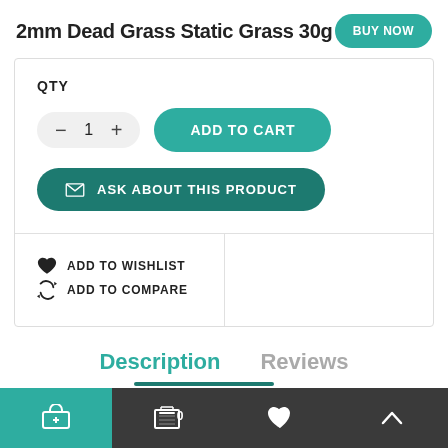2mm Dead Grass Static Grass 30g
BUY NOW
QTY
ADD TO CART
ASK ABOUT THIS PRODUCT
ADD TO WISHLIST
ADD TO COMPARE
Description
Reviews
Cart | Bag 0 | Wishlist | Up